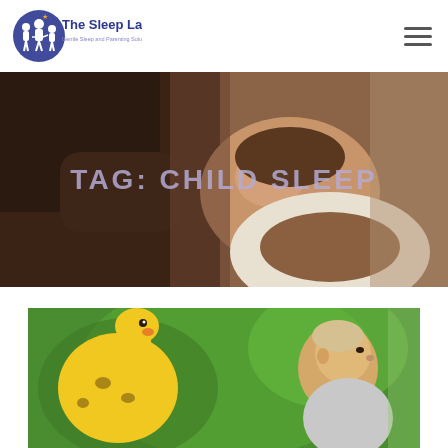[Figure (logo): The Sleep Lady logo with icon of family figures and text 'The Sleep Lady - Gentle Sleep and Parenting Solutions']
[Figure (photo): Close-up photo of a father kissing a newborn baby on the forehead, warm skin tones]
TAG: CHILD SLEEP
[Figure (photo): A toddler child looking at a yellow giraffe toy against a green bokeh background]